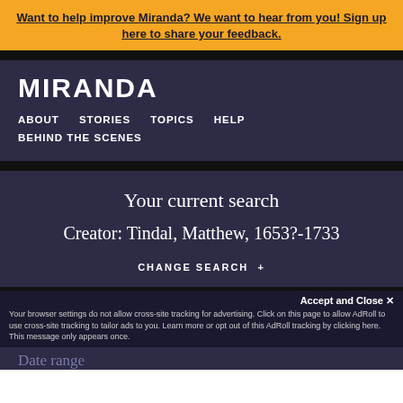Want to help improve Miranda? We want to hear from you! Sign up here to share your feedback.
MIRANDA
ABOUT
STORIES
TOPICS
HELP
BEHIND THE SCENES
Your current search
Creator: Tindal, Matthew, 1653?-1733
CHANGE SEARCH +
Accept and Close ✕
Your browser settings do not allow cross-site tracking for advertising. Click on this page to allow AdRoll to use cross-site tracking to tailor ads to you. Learn more or opt out of this AdRoll tracking by clicking here. This message only appears once.
Date range